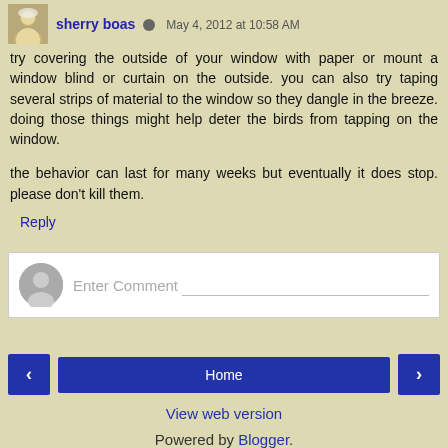sherry boas · May 4, 2012 at 10:58 AM
try covering the outside of your window with paper or mount a window blind or curtain on the outside. you can also try taping several strips of material to the window so they dangle in the breeze. doing those things might help deter the birds from tapping on the window.
the behavior can last for many weeks but eventually it does stop. please don't kill them.
Reply
Enter Comment
Home
View web version
Powered by Blogger.